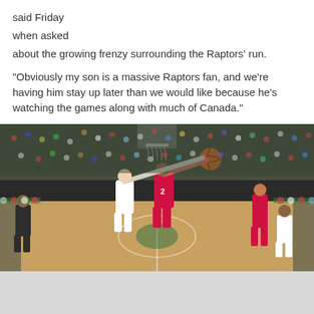said Friday
when asked
about the growing frenzy surrounding the Raptors’ run.

“Obviously my son is a massive Raptors fan, and we’re having him stay up later than we would like because he’s watching the games along with much of Canada.”
[Figure (photo): Basketball game photo showing a Toronto Raptors player wearing number 2 (Kawhi Leonard) going up for a layup against a Milwaukee Bucks defender, with a full arena crowd in the background. Both teams' players and a hardwood basketball court are visible.]